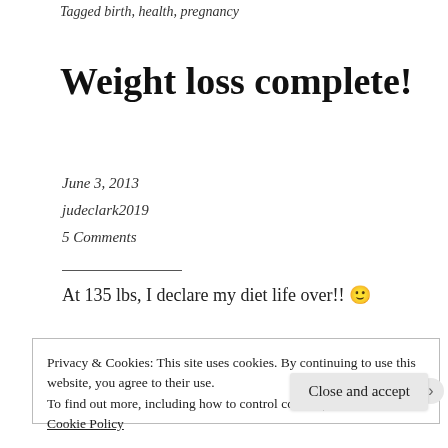Tagged birth, health, pregnancy
Weight loss complete!
June 3, 2013
judeclark2019
5 Comments
At 135 lbs, I declare my diet life over!! 🙂
Privacy & Cookies: This site uses cookies. By continuing to use this website, you agree to their use.
To find out more, including how to control cookies, see here:
Cookie Policy
Close and accept